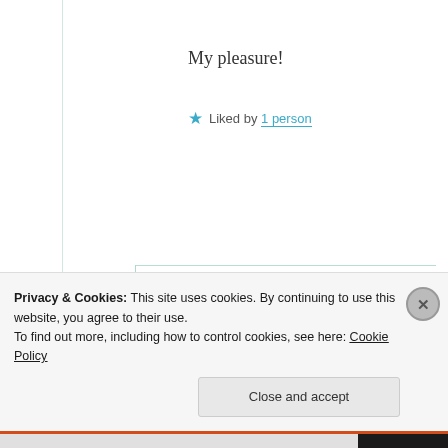My pleasure!
★ Liked by 1 person
Suma Reddy
20th Jun 2021 at 6:26 pm
[Figure (photo): Round avatar photo of Suma Reddy]
😇 ❤️
Privacy & Cookies: This site uses cookies. By continuing to use this website, you agree to their use.
To find out more, including how to control cookies, see here: Cookie Policy
Close and accept